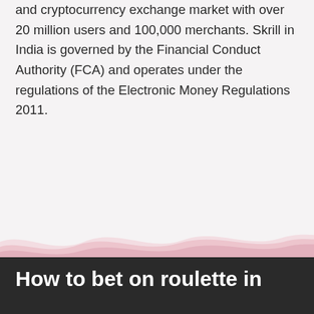and cryptocurrency exchange market with over 20 million users and 100,000 merchants. Skrill in India is governed by the Financial Conduct Authority (FCA) and operates under the regulations of the Electronic Money Regulations 2011.
[Figure (illustration): Decorative pink wave illustration along the bottom of the upper content section]
How to bet on roulette in online skrill casinos?